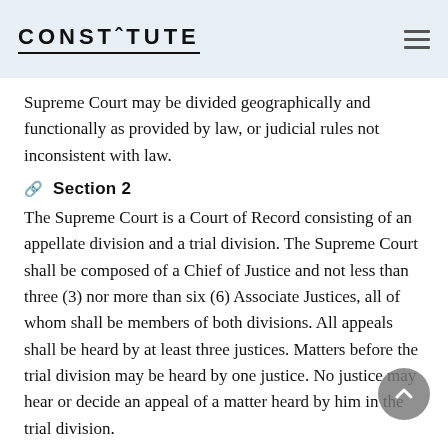CONSTITUTE
Supreme Court may be divided geographically and functionally as provided by law, or judicial rules not inconsistent with law.
Section 2
The Supreme Court is a Court of Record consisting of an appellate division and a trial division. The Supreme Court shall be composed of a Chief of Justice and not less than three (3) nor more than six (6) Associate Justices, all of whom shall be members of both divisions. All appeals shall be heard by at least three justices. Matters before the trial division may be heard by one justice. No justice may hear or decide an appeal of a matter heard by him in the trial division.
Section 3